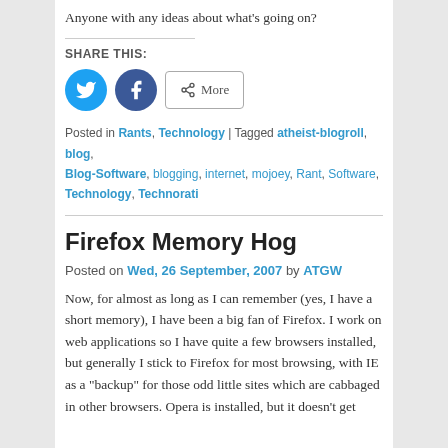Anyone with any ideas about what's going on?
SHARE THIS:
[Figure (infographic): Social share buttons: Twitter (blue circle with bird icon), Facebook (blue circle with f icon), and a More button with share icon]
Posted in Rants, Technology | Tagged atheist-blogroll, blog, Blog-Software, blogging, internet, mojoey, Rant, Software, Technology, Technorati
Firefox Memory Hog
Posted on Wed, 26 September, 2007 by ATGW
Now, for almost as long as I can remember (yes, I have a short memory), I have been a big fan of Firefox. I work on web applications so I have quite a few browsers installed, but generally I stick to Firefox for most browsing, with IE as a "backup" for those odd little sites which are cabbaged in other browsers. Opera is installed, but it doesn't get